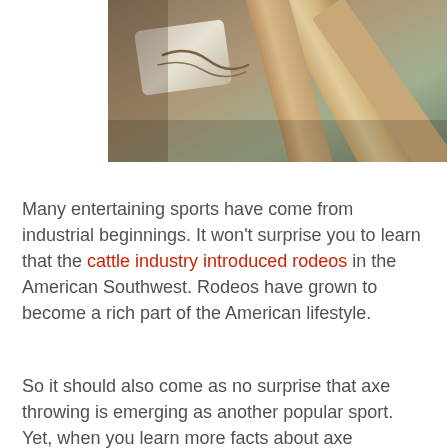[Figure (photo): Close-up photo of wooden planks or axe handles stacked together, with some rope or other objects visible, warm tones of brown and tan.]
Many entertaining sports have come from industrial beginnings. It won't surprise you to learn that the cattle industry introduced rodeos in the American Southwest. Rodeos have grown to become a rich part of the American lifestyle.
So it should also come as no surprise that axe throwing is emerging as another popular sport. Yet, when you learn more facts about axe throwing, you begin to see the sport's draw.
If you ever wondered about the art of axe throwing or where it came from, keep reading. You will not only get the answer to why is axe throwing popular? You will want to try axe throwing for yourself soon.